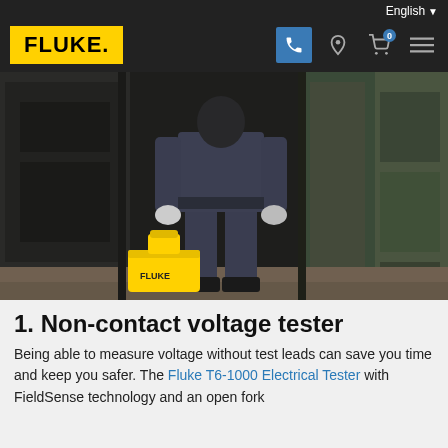English
[Figure (logo): Fluke logo on yellow background in navigation bar]
[Figure (photo): Technician in dark coveralls standing in an electrical switchgear room, with a yellow Fluke toolbox on the floor beside them]
1. Non-contact voltage tester
Being able to measure voltage without test leads can save you time and keep you safer. The Fluke T6-1000 Electrical Tester with FieldSense technology and an open fork